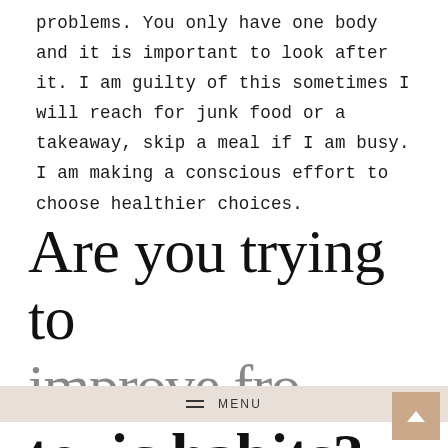problems. You only have one body and it is important to look after it. I am guilty of this sometimes I will reach for junk food or a takeaway, skip a meal if I am busy. I am making a conscious effort to choose healthier choices.
Are you trying to toxic habits? I'd love to hear in the
MENU